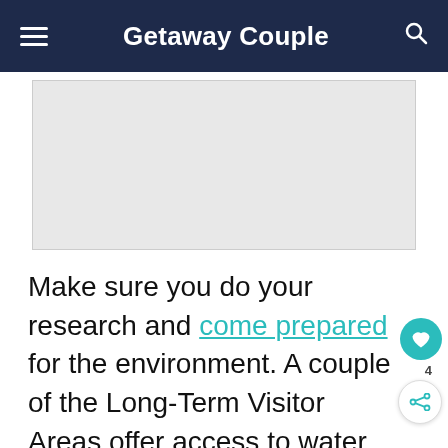Getaway Couple
[Figure (other): Advertisement placeholder box (gray rectangle)]
Make sure you do your research and come prepared for the environment. A couple of the Long-Term Visitor Areas offer access to water, a dump station, and even showers, but most do not. You'll want to have a plan for power and...